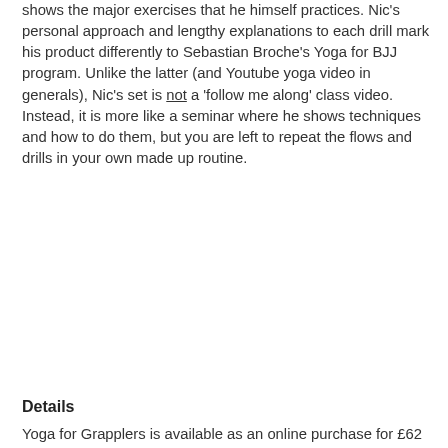shows the major exercises that he himself practices. Nic's personal approach and lengthy explanations to each drill mark his product differently to Sebastian Broche's Yoga for BJJ program. Unlike the latter (and Youtube yoga video in generals), Nic's set is not a 'follow me along' class video. Instead, it is more like a seminar where he shows techniques and how to do them, but you are left to repeat the flows and drills in your own made up routine.
Details
Yoga for Grapplers is available as an online purchase for £62 on this link here. Video duration: 2 hours 36 minutes
at May 29, 2017    No comments:
Share
26 May 2017
Meerkatsu Media Appearances